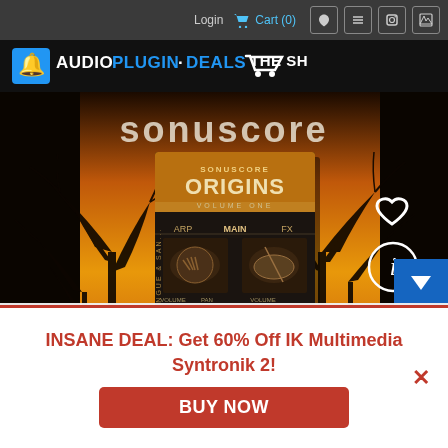Login  Cart (0)
[Figure (logo): AudioPlugin.Deals THE SHOP logo with blue alarm bell icon and shopping cart icon]
[Figure (screenshot): Sonuscore Origins Volume One Kontakt plugin product page screenshot showing plugin UI with ARP, MAIN, FX tabs, steel tongue and sanzu instruments, dark background with tree silhouettes against orange sunset sky, heart and info icons on right side]
Accept and Close ✕
Your browser settings do not allow cross-site tracking for advertising. Click on this page to allow AdRoll to use cross-site tracking to tailor ads to you. Learn more or opt out of this AdRoll tracking by clicking here. This message only appears once.
INSANE DEAL: Get 60% Off IK Multimedia Syntronik 2!
BUY NOW